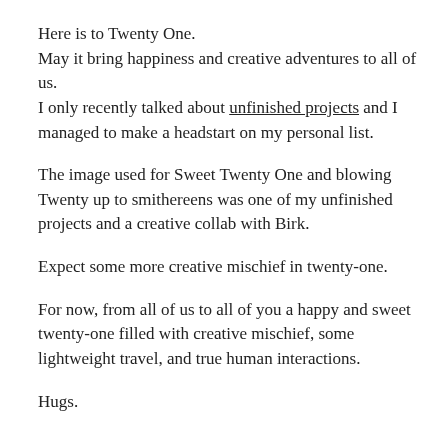Here is to Twenty One.
May it bring happiness and creative adventures to all of us.
I only recently talked about unfinished projects and I managed to make a headstart on my personal list.
The image used for Sweet Twenty One and blowing Twenty up to smithereens was one of my unfinished projects and a creative collab with Birk.
Expect some more creative mischief in twenty-one.
For now, from all of us to all of you a happy and sweet twenty-one filled with creative mischief, some lightweight travel, and true human interactions.
Hugs.